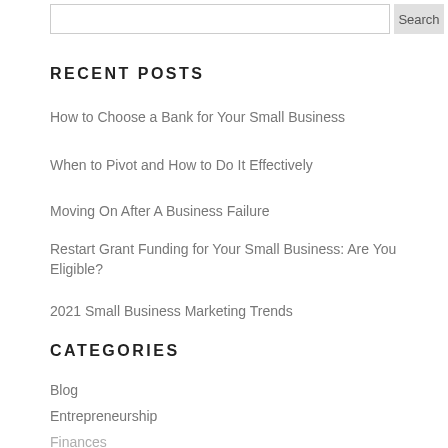RECENT POSTS
How to Choose a Bank for Your Small Business
When to Pivot and How to Do It Effectively
Moving On After A Business Failure
Restart Grant Funding for Your Small Business: Are You Eligible?
2021 Small Business Marketing Trends
CATEGORIES
Blog
Entrepreneurship
Finances
Management
Organization